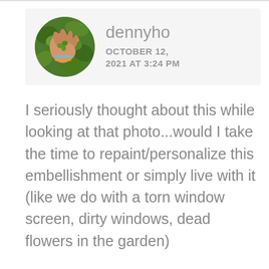[Figure (photo): Circular avatar photo showing a hand holding clover/small plants against a green leafy background with small yellow flowers]
dennyho
OCTOBER 12, 2021 AT 3:24 PM
I seriously thought about this while looking at that photo...would I take the time to repaint/personalize this embellishment or simply live with it (like we do with a torn window screen, dirty windows, dead flowers in the garden)